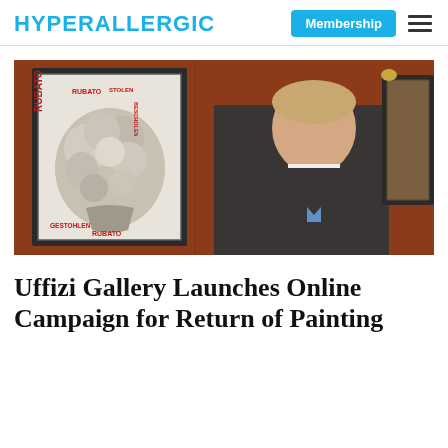HYPERALLERGIC | Membership ☰
[Figure (photo): A man in a dark suit and blue patterned tie stands next to a framed black-and-white print of a flower arrangement. The print has red text stamps reading 'RUBATO', 'STOLEN', 'RUBATO', 'GESTOHLEN' overlaid on it. The background wall is dark red/brown. Another framed painting is visible to the right.]
Uffizi Gallery Launches Online Campaign for Return of Painting